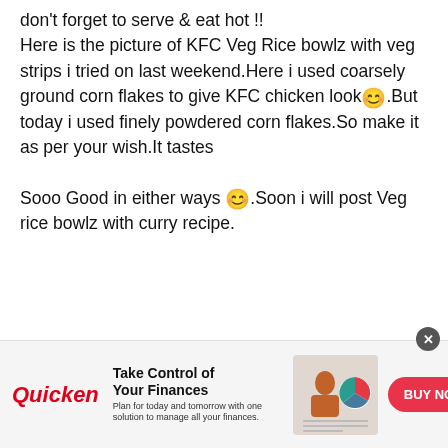don't forget to serve & eat hot !! Here is the picture of KFC Veg Rice bowlz with veg strips i tried on last weekend.Here i used coarsely ground corn flakes to give KFC chicken look 😊.But today i used finely powdered corn flakes.So make it as per your wish.It tastes Sooo Good in either ways 😊.Soon i will post Veg rice bowlz with curry recipe.
[Figure (infographic): Quicken advertisement banner: Take Control of Your Finances. Plan for today and tomorrow with one solution to manage all your finances. Shows a woman working on finances with a pie chart graphic. BUY NOW button.]